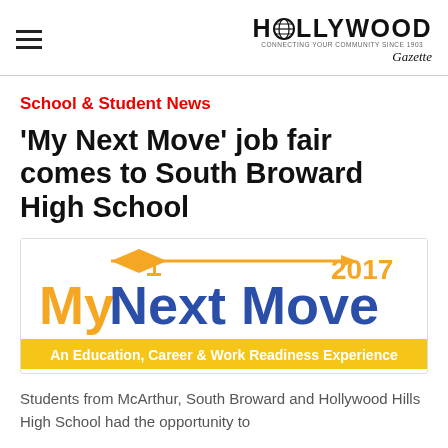HOLLYWOOD Gazette — connecting your community since 1903
School & Student News
'My Next Move' job fair comes to South Broward High School
[Figure (logo): My Next Move 2017 — An Education, Career & Work Readiness Experience banner logo with graduation cap and arrow graphic]
Students from McArthur, South Broward and Hollywood Hills High School had the opportunity to